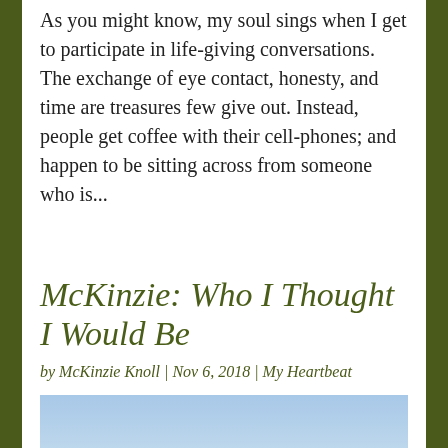As you might know, my soul sings when I get to participate in life-giving conversations. The exchange of eye contact, honesty, and time are treasures few give out. Instead, people get coffee with their cell-phones; and happen to be sitting across from someone who is...
McKinzie: Who I Thought I Would Be
by McKinzie Knoll | Nov 6, 2018 | My Heartbeat
[Figure (photo): Outdoor landscape photo showing a wide open field with golden/brown crops or vegetation, a tree line of dark green conifers in the background, a clear blue sky, and a small white building or structure visible on the right side. A partial gray/silver panel or object is visible in the lower right area of the image.]